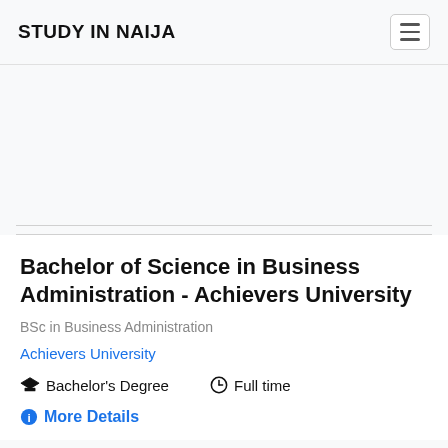STUDY IN NAIJA
Bachelor of Science in Business Administration - Achievers University
BSc in Business Administration
Achievers University
Bachelor's Degree   Full time
More Details